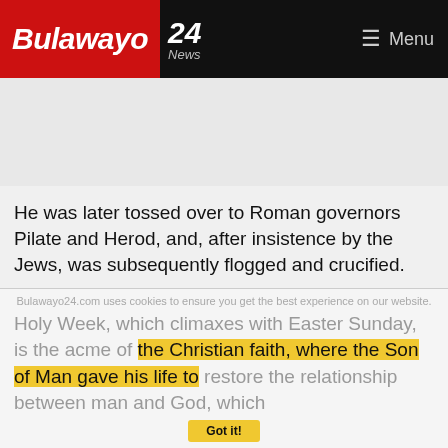Bulawayo 24 News | Menu
[Figure (other): Advertisement space / grey placeholder area]
He was later tossed over to Roman governors Pilate and Herod, and, after insistence by the Jews, was subsequently flogged and crucified.
However, three days later, on Sunday, He rose from the dead.
Hallelujah!
Holy Week, which climaxes with Easter Sunday, is the acme of the Christian faith, where the Son of Man gave his life to restore the relationship between man and God, which
Bulawayo24.com uses cookies to ensure you get the best experience on our website.
Got it!